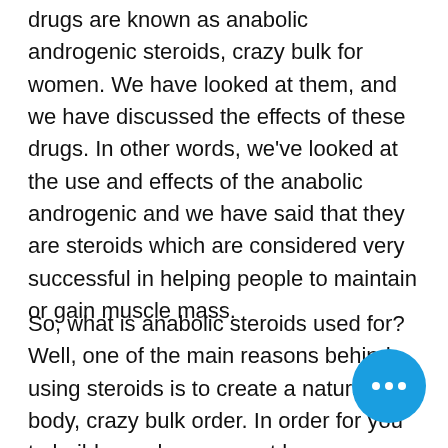drugs are known as anabolic androgenic steroids, crazy bulk for women. We have looked at them, and we have discussed the effects of these drugs. In other words, we've looked at the use and effects of the anabolic androgenic and we have said that they are steroids which are considered very successful in helping people to maintain or gain muscle mass.
So, what is anabolic steroids used for? Well, one of the main reasons behind using steroids is to create a natural lean body, crazy bulk order. In order for you to build muscle, you must have a healthy lifestyle that includes proper eating, crazy bulk reviews. By eating right and building mass, you will actually increase your muscle mass.
The most commonly used steroids are anabolic steroids, crazy bulk mass stack. Anabolic steroids not only cause the muscle...